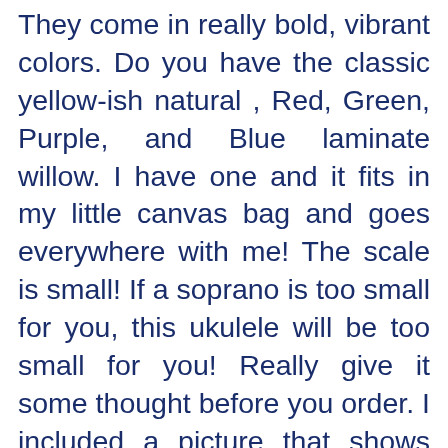They come in really bold, vibrant colors. Do you have the classic yellow-ish natural , Red, Green, Purple, and Blue laminate willow. I have one and it fits in my little canvas bag and goes everywhere with me!  The scale is small!  If a soprano is too small for you, this ukulele will be too small for you!  Really give it some thought before you order. I included a picture that shows the Soprano, Sopranino, and Sopranissimo scale so you can see how small it is compared to the Soprano. The teenie tiny scale is not for everyone, but if you have been hankering for a teenie ukulele that is still SUPER playable and for the size has a BIG sound!  Then this ukulele is for you!  I will post links to vids at the bottom!  With the stock